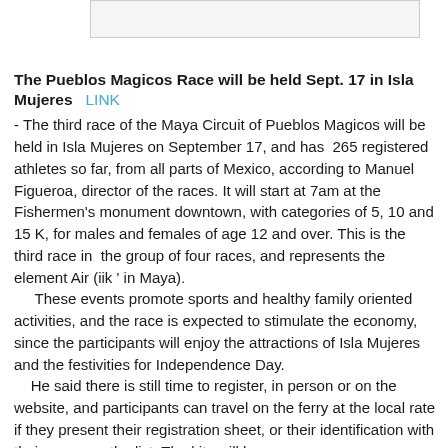[Figure (other): Partial image or graphic at top of page, mostly cropped]
The Pueblos Magicos Race will be held Sept. 17 in Isla Mujeres   LINK
- The third race of the Maya Circuit of Pueblos Magicos will be held in Isla Mujeres on September 17, and has  265 registered athletes so far, from all parts of Mexico, according to Manuel Figueroa, director of the races. It will start at 7am at the Fishermen's monument downtown, with categories of 5, 10 and 15 K, for males and females of age 12 and over. This is the third race in  the group of four races, and represents the element Air (iik ' in Maya).
     These events promote sports and healthy family oriented activities, and the race is expected to stimulate the economy, since the participants will enjoy the attractions of Isla Mujeres and the festivities for Independence Day.
     He said there is still time to register, in person or on the website, and participants can travel on the ferry at the local rate if they present their registration sheet, or their identification with their name on the list. The kits will be